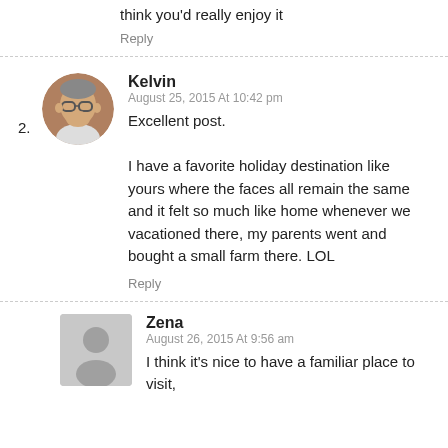think you'd really enjoy it
Reply
2.
[Figure (photo): Avatar photo of Kelvin, a man wearing glasses]
Kelvin
August 25, 2015 At 10:42 pm
Excellent post.

I have a favorite holiday destination like yours where the faces all remain the same and it felt so much like home whenever we vacationed there, my parents went and bought a small farm there. LOL
Reply
[Figure (illustration): Generic user avatar placeholder for Zena]
Zena
August 26, 2015 At 9:56 am
I think it's nice to have a familiar place to visit,